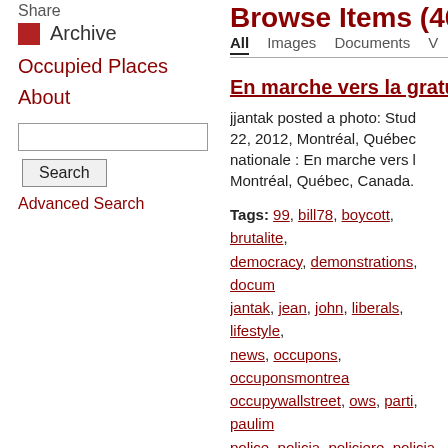Share
Archive
Occupied Places
About
Search / Advanced Search
Browse Items (46 total)
All | Images | Documents | V
En marche vers la gratuité
jjantak posted a photo: Stud 22, 2012, Montréal, Québec nationale : En marche vers l Montréal, Québec, Canada.
Tags: 99, bill78, boycott, brutalite, democracy, demonstrations, docum jantak, jean, john, liberals, lifestyle, news, occupons, occuponsmontrea occupywallstreet, ows, parti, paulim police, policia, policiere, policja, po